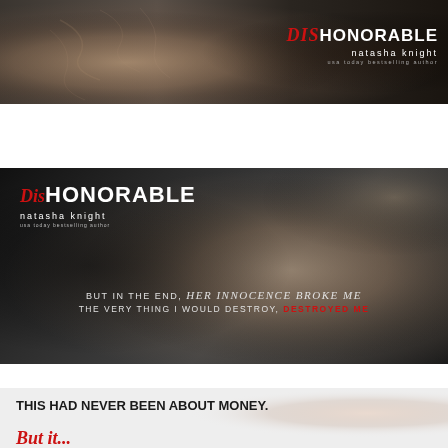[Figure (illustration): Top book cover banner for 'DisHONORABLE' by Natasha Knight showing a dark close-up of a male torso/back with the title text in white and red on the right side]
[Figure (illustration): Middle promotional teaser banner for 'DisHONORABLE' by Natasha Knight, black and white photo of male torso, with title top-left and quote: 'BUT IN THE END, her innocence broke me / THE VERY THING I WOULD DESTROY, DESTROYED ME']
[Figure (illustration): Bottom promotional teaser banner showing light background with male figure, text: 'THIS HAD NEVER BEEN ABOUT MONEY.' followed by red script text beginning]